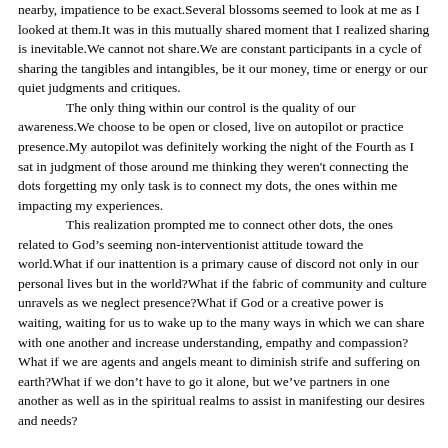nearby, impatience to be exact.Several blossoms seemed to look at me as I looked at them.It was in this mutually shared moment that I realized sharing is inevitable.We cannot not share.We are constant participants in a cycle of sharing the tangibles and intangibles, be it our money, time or energy or our quiet judgments and critiques.
	The only thing within our control is the quality of our awareness.We choose to be open or closed, live on autopilot or practice presence.My autopilot was definitely working the night of the Fourth as I sat in judgment of those around me thinking they weren't connecting the dots forgetting my only task is to connect my dots, the ones within me impacting my experiences.
	This realization prompted me to connect other dots, the ones related to God's seeming non-interventionist attitude toward the world.What if our inattention is a primary cause of discord not only in our personal lives but in the world?What if the fabric of community and culture unravels as we neglect presence?What if God or a creative power is waiting, waiting for us to wake up to the many ways in which we can share with one another and increase understanding, empathy and compassion?What if we are agents and angels meant to diminish strife and suffering on earth?What if we don't have to go it alone, but we've partners in one another as well as in the spiritual realms to assist in manifesting our desires and needs?